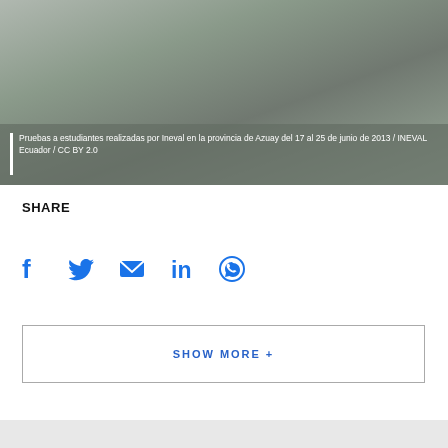[Figure (photo): Students in a classroom, photo taken during tests administered by Ineval in the province of Azuay]
Pruebas a estudiantes realizadas por Ineval en la provincia de Azuay del 17 al 25 de junio de 2013 / INEVAL Ecuador / CC BY 2.0
SHARE
[Figure (infographic): Social share icons: Facebook, Twitter, Email, LinkedIn, WhatsApp]
SHOW MORE +